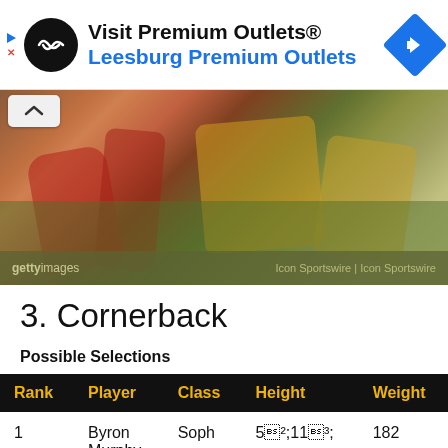[Figure (other): Advertisement banner for Visit Premium Outlets / Leesburg Premium Outlets with circular logo and navigation icon]
[Figure (photo): Getty Images sports photo of football players, watermarked with 'Icon Sportswire | Icon Sportswire', partially cropped showing players' legs and lower bodies on a field]
3. Cornerback
Possible Selections
| Rank | Player | Class | Height | Weight |
| --- | --- | --- | --- | --- |
| 1 | Byron Murphy | Soph | 5’11” | 182 |